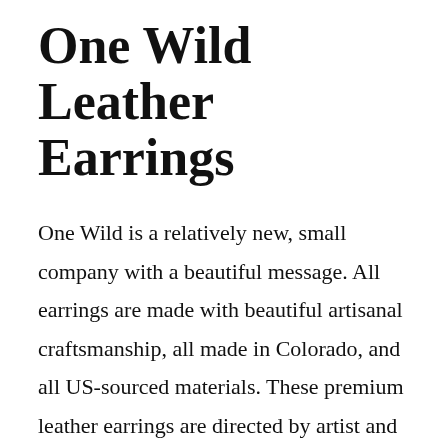One Wild Leather Earrings
One Wild is a relatively new, small company with a beautiful message. All earrings are made with beautiful artisanal craftsmanship, all made in Colorado, and all US-sourced materials. These premium leather earrings are directed by artist and designer, Kerstin Stock, who previously worked a dozen years in the jewelry industry. All leather earrings go towards Project Wild, a non-profit designed to empower women by funding already existing organizations like Girls on the Run, the Cairn Project, and others.